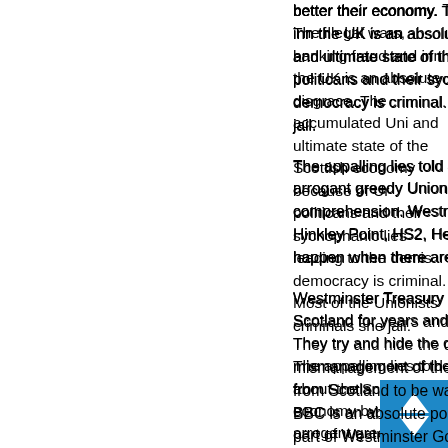better their economy. The illegal wars, banking fraud and inn the UK is an absolute disgrace. The accumulated Uni and ultimate state of the Scottish economy because of Ur politicans and their sychophanic lies leading to the demis democracy is criminal. Most of the Unionists criminals she jail.
The appalling lies told about the Scottish economy by ign arrogant greedy Unionists full of their own conceit is beyo comprehension. Westminster is wasting another £500Billi Hinkley Point, HS2, Heathrow and Trident. All dusters wa happen when there are credible alternatives.
Westminster Treasury have been illegally taking funds ou Scotland for years and trying to hide it through fraudulent They try and hide the deficit by the same methods. Westr mismanagement of the Scottish economy is criminal. Tak from Scotland to be wasted by Westminster Unionist croc BBC is an absolute politically corrupt greedy organisation part of Westminster Gov political propaganda machine.
If Trump stops the illegal wars he is doing the wor as Trump made gains the military was stood down